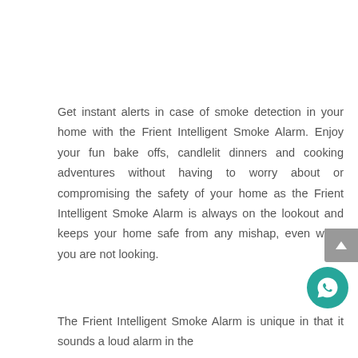Get instant alerts in case of smoke detection in your home with the Frient Intelligent Smoke Alarm. Enjoy your fun bake offs, candlelit dinners and cooking adventures without having to worry about or compromising the safety of your home as the Frient Intelligent Smoke Alarm is always on the lookout and keeps your home safe from any mishap, even when you are not looking.
The Frient Intelligent Smoke Alarm is unique in that it sounds a loud alarm in the